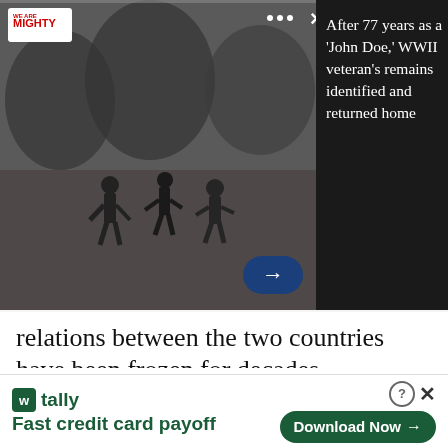[Figure (screenshot): Black and white WWII photo of soldiers running in a field, with We Are The Mighty logo badge, three-dot menu icon, and X close button at top. A dark navy oval arrow button is in the lower right.]
After 77 years as a 'John Doe,' WWII veteran's remains identified and returned home
relations between the two countries have been frozen for decades.
“They express themselves through speeches since diplomatic channels are closed,” said Falahatpisheh who heads the influential parliamentary committee on national security and
[Figure (screenshot): Tally app advertisement banner. Shows Tally logo (green square with W), tally brand name, tagline 'Fast credit card payoff', a help icon, close X icon, and a green 'Download Now' button with arrow.]